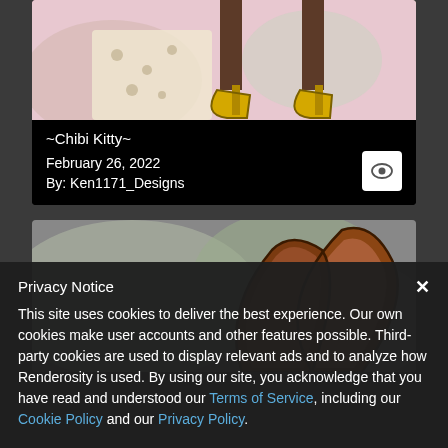[Figure (illustration): Partial illustration showing cartoon character legs in yellow heels on a pink/beige background with polka dot fabric]
~Chibi Kitty~
February 26, 2022
By: Ken1171_Designs
[Figure (illustration): Partial illustration showing brown bunny ears on a blurred colorful background]
Privacy Notice
This site uses cookies to deliver the best experience. Our own cookies make user accounts and other features possible. Third-party cookies are used to display relevant ads and to analyze how Renderosity is used. By using our site, you acknowledge that you have read and understood our Terms of Service, including our Cookie Policy and our Privacy Policy.